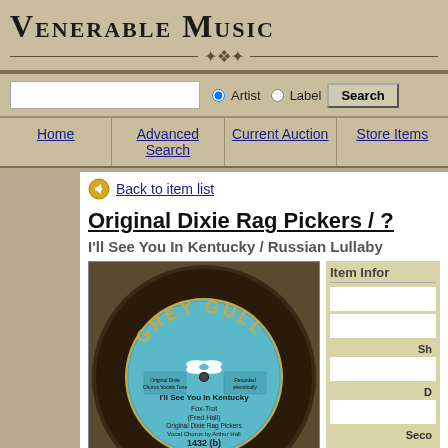Venerable Music
Artist  Label  Search
Home | Advanced Search | Current Auction | Store Items
Back to item list
Original Dixie Rag Pickers / ?
I'll See You In Kentucky / Russian Lullaby
[Figure (photo): Grey Gull record label, blue, showing 'I'll See You In Kentucky, Fox-Trot, (Fred Hall), Original Dixie Rag Pickers, Vocal Chorus by Arthur Hall, 1432 (b), (2278)']
Item Info
Sh
No
Seco